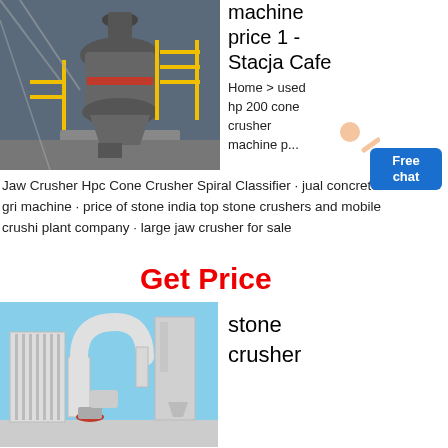[Figure (photo): Industrial cone crusher machine on a large factory/plant structure with yellow railings and metal scaffolding, aerial view]
machine price 1 - Stacja Cafe
Home > used hp 200 cone crusher machine p...
[Figure (photo): Person in white shirt (customer service representative) with a Free chat button overlay in blue]
Jaw Crusher Hpc Cone Crusher Spiral Classifier · jual concrete gri machine · price of stone india top stone crushers and mobile crushi plant company · large jaw crusher for sale
Get Price
[Figure (photo): White industrial stone crusher / grinding mill equipment with blue sky background, showing ductwork and industrial components]
stone crusher